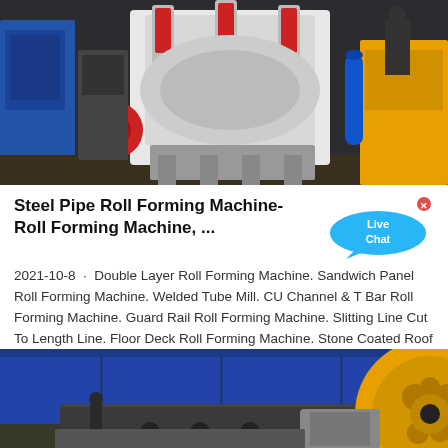[Figure (photo): Industrial heavy machinery - white and red cone crusher machine in a factory setting with blue equipment in background and a worker visible]
Steel Pipe Roll Forming Machine-Roll Forming Machine, ...
2021-10-8 · Double Layer Roll Forming Machine. Sandwich Panel Roll Forming Machine. Welded Tube Mill. CU Channel & T Bar Roll Forming Machine. Guard Rail Roll Forming Machine. Slitting Line Cut To Length Line. Floor Deck Roll Forming Machine. Stone Coated Roof Decking Machine. Profiling Wall...
[Figure (photo): Industrial roll forming machine wheel/pulley component - large yellow circular wheel mechanism against blue warehouse background, with a chat button overlay]